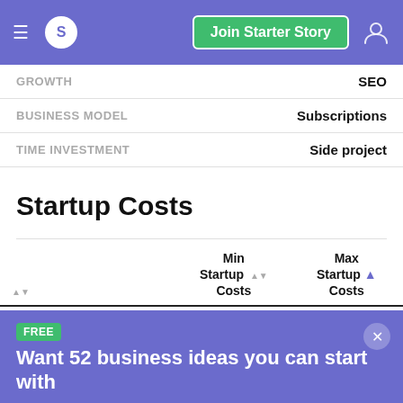S  Join Starter Story
|  | Min Startup Costs | Max Startup Costs |
| --- | --- | --- |
| GROWTH |  | SEO |
| BUSINESS MODEL |  | Subscriptions |
| TIME INVESTMENT |  | Side project |
Startup Costs
|  | Min Startup Costs | Max Startup Costs |
| --- | --- | --- |
| Specific Industry Expenses | $0 | $100 |
FREE
Want 52 business ideas you can start with